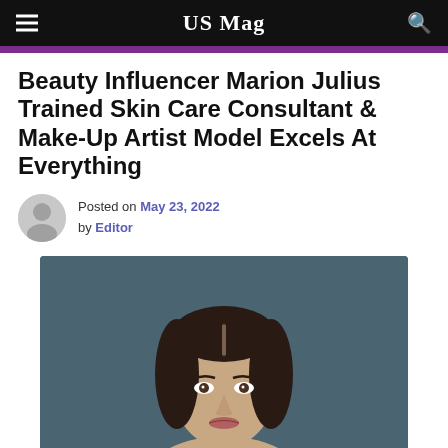US Mag
Beauty Influencer Marion Julius Trained Skin Care Consultant & Make-Up Artist Model Excels At Everything
Posted on May 23, 2022 by Editor
[Figure (photo): Portrait photo of a woman with dark straight hair against a dark teal/grey background, looking directly at camera]